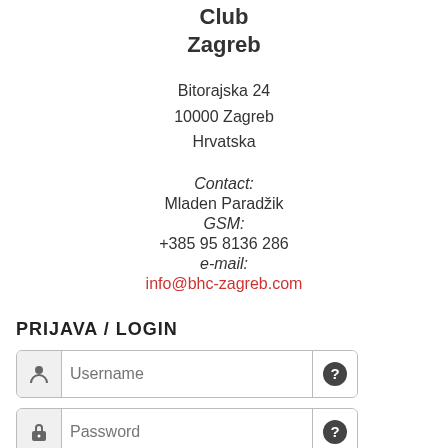Club
Zagreb
Bitorajska 24
10000 Zagreb
Hrvatska
Contact:
Mladen Paradžik
GSM:
+385 95 8136 286
e-mail:
info@bhc-zagreb.com
PRIJAVA / LOGIN
Username
Password
Remember Me
Log in
Go to top